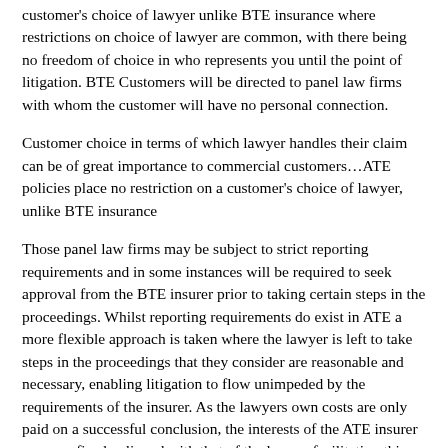customer's choice of lawyer unlike BTE insurance where restrictions on choice of lawyer are common, with there being no freedom of choice in who represents you until the point of litigation. BTE Customers will be directed to panel law firms with whom the customer will have no personal connection.
Customer choice in terms of which lawyer handles their claim can be of great importance to commercial customers…ATE policies place no restriction on a customer's choice of lawyer, unlike BTE insurance
Those panel law firms may be subject to strict reporting requirements and in some instances will be required to seek approval from the BTE insurer prior to taking certain steps in the proceedings. Whilst reporting requirements do exist in ATE a more flexible approach is taken where the lawyer is left to take steps in the proceedings that they consider are reasonable and necessary, enabling litigation to flow unimpeded by the requirements of the insurer. As the lawyers own costs are only paid on a successful conclusion, the interests of the ATE insurer are very firmly aligned with that of the lawyer facilitating this, but with a more 'hands-off' approach.
As access to justice becomes more expensive, advising your customers on the availability of legal expenses insurance could